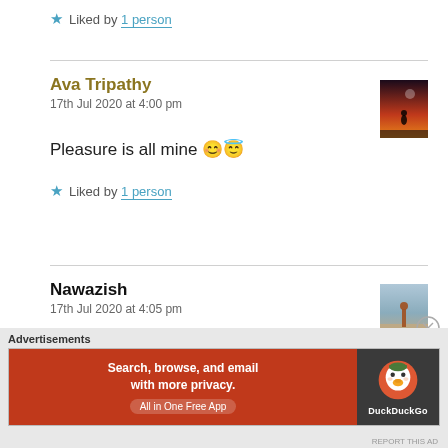★ Liked by 1 person
Ava Tripathy
17th Jul 2020 at 4:00 pm
[Figure (photo): Small avatar thumbnail showing a silhouette figure against a red/orange sky]
Pleasure is all mine 😊😇
★ Liked by 1 person
Nawazish
17th Jul 2020 at 4:05 pm
[Figure (photo): Small avatar thumbnail showing a person standing on a beach/shore]
Advertisements
[Figure (screenshot): DuckDuckGo advertisement banner: Search, browse, and email with more privacy. All in One Free App. DuckDuckGo logo on dark background.]